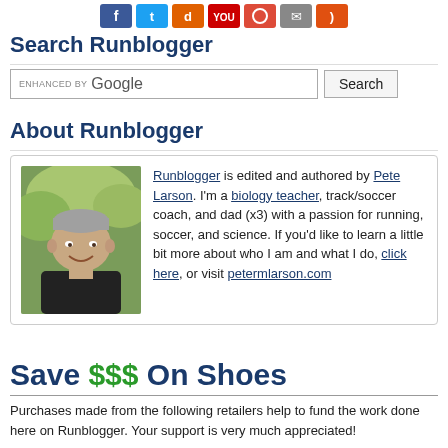[Figure (infographic): Social media icon buttons row: Facebook (blue), Twitter (blue), Google+/digg (orange), YouTube (red), Google (red/circle), email (gray), RSS (red)]
Search Runblogger
[Figure (screenshot): Google search bar with 'ENHANCED BY Google' placeholder text and a Search button]
About Runblogger
Runblogger is edited and authored by Pete Larson. I'm a biology teacher, track/soccer coach, and dad (x3) with a passion for running, soccer, and science. If you'd like to learn a little bit more about who I am and what I do, click here, or visit petermlarson.com
Save $$$ On Shoes
Purchases made from the following retailers help to fund the work done here on Runblogger. Your support is very much appreciated!